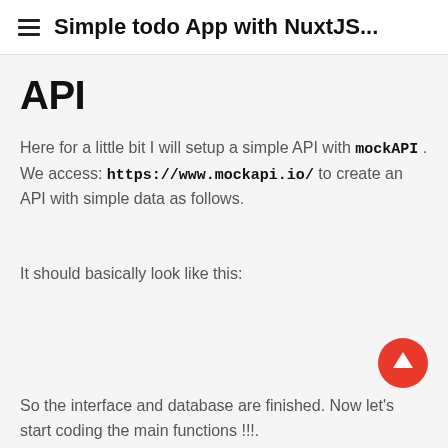Simple todo App with NuxtJS...
API
Here for a little bit I will setup a simple API with mockAPI . We access: https://www.mockapi.io/ to create an API with simple data as follows.
It should basically look like this:
[Figure (other): Floating action button (FAB) with upward arrow, red circular button]
So the interface and database are finished. Now let's start coding the main functions !!.
MAIN FUCTION